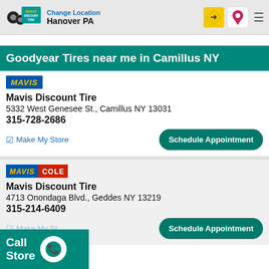Change Location Hanover PA
Goodyear Tires near me in Camillus NY
Mavis Discount Tire
5332 West Genesee St., Camillus NY 13031
315-728-2686
Make My Store
Schedule Appointment
Mavis Discount Tire
4713 Onondaga Blvd., Geddes NY 13219
315-214-6409
Schedule Appointment
Call Store